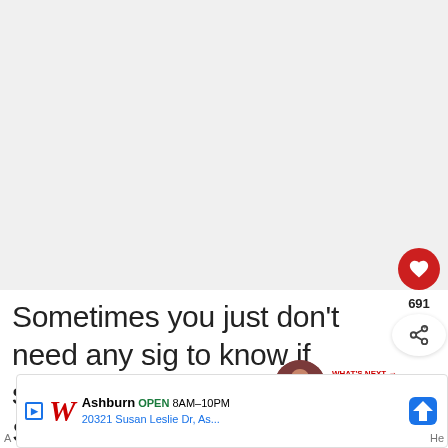[Figure (screenshot): Blank light gray area at top of page (article image placeholder)]
691
Sometimes you just don't need any sig to know if someone is your soulm not. Sometimes you just know.
[Figure (infographic): What's Next panel with thumbnail and text: WHAT'S NEXT → Being Single Beats Being ...]
[Figure (screenshot): Walgreens advertisement: Ashburn OPEN 8AM-10PM 20321 Susan Leslie Dr, As...]